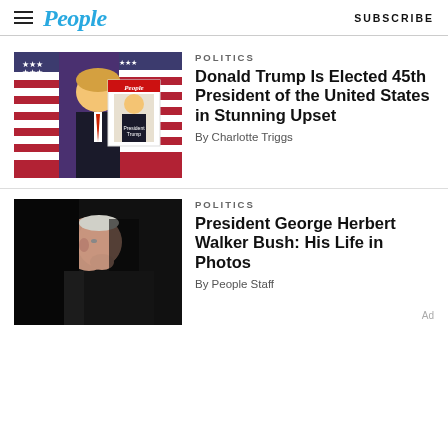People | SUBSCRIBE
[Figure (photo): Donald Trump giving thumbs up at podium with American flags and People magazine cover overlay showing 'President Trump']
POLITICS
Donald Trump Is Elected 45th President of the United States in Stunning Upset
By Charlotte Triggs
[Figure (photo): President George Herbert Walker Bush in profile, dark background, wearing suit and red tie]
POLITICS
President George Herbert Walker Bush: His Life in Photos
By People Staff